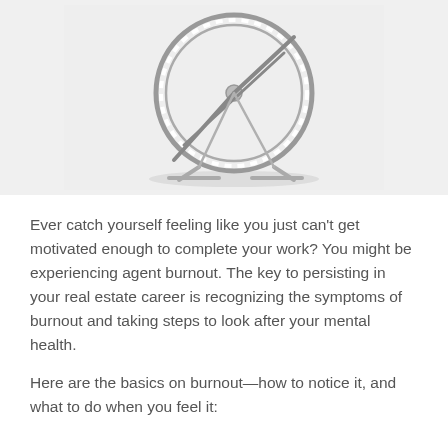[Figure (illustration): A hamster wheel (exercise wheel) shown on a light gray background, metallic/silver in color with white dashed rungs, viewed at a slight angle]
Ever catch yourself feeling like you just can’t get motivated enough to complete your work? You might be experiencing agent burnout. The key to persisting in your real estate career is recognizing the symptoms of burnout and taking steps to look after your mental health.
Here are the basics on burnout—how to notice it, and what to do when you feel it: